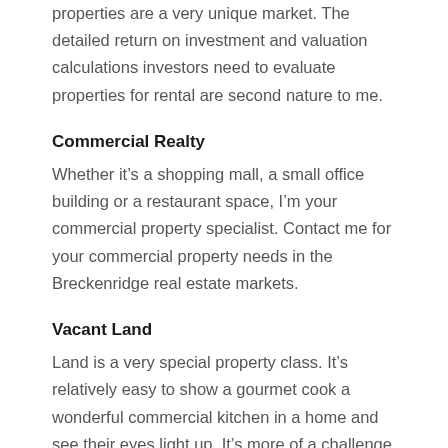properties are a very unique market. The detailed return on investment and valuation calculations investors need to evaluate properties for rental are second nature to me.
Commercial Realty
Whether it’s a shopping mall, a small office building or a restaurant space, I’m your commercial property specialist. Contact me for your commercial property needs in the Breckenridge real estate markets.
Vacant Land
Land is a very special property class. It’s relatively easy to show a gourmet cook a wonderful commercial kitchen in a home and see their eyes light up. It’s more of a challenge to help a buyer or seller to realize the potential in a piece of land. I’m the best at it in the Breckenridge real estate